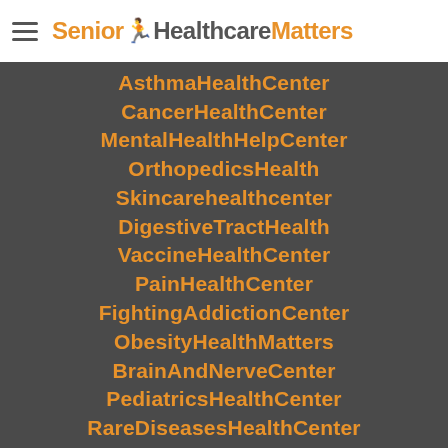Senior Healthcare Matters
AsthmaHealthCenter
CancerHealthCenter
MentalHealthHelpCenter
OrthopedicsHealth
SkincarehealthCenter
DigestiveTractHealth
VaccineHealthCenter
PainHealthCenter
FightingAddictionCenter
ObesityHealthMatters
BrainAndNerveCenter
PediatricsHealthCenter
RareDiseasesHealthCenter